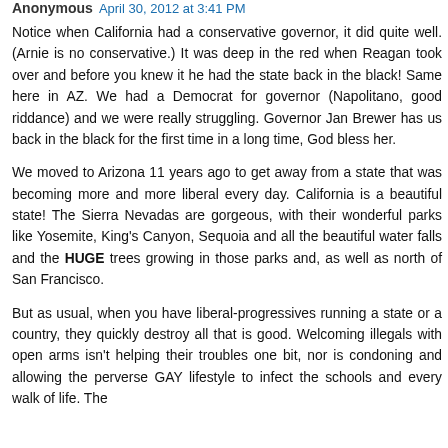Anonymous April 30, 2012 at 3:41 PM
Notice when California had a conservative governor, it did quite well. (Arnie is no conservative.) It was deep in the red when Reagan took over and before you knew it he had the state back in the black! Same here in AZ. We had a Democrat for governor (Napolitano, good riddance) and we were really struggling. Governor Jan Brewer has us back in the black for the first time in a long time, God bless her.
We moved to Arizona 11 years ago to get away from a state that was becoming more and more liberal every day. California is a beautiful state! The Sierra Nevadas are gorgeous, with their wonderful parks like Yosemite, King's Canyon, Sequoia and all the beautiful water falls and the HUGE trees growing in those parks and, as well as north of San Francisco.
But as usual, when you have liberal-progressives running a state or a country, they quickly destroy all that is good. Welcoming illegals with open arms isn't helping their troubles one bit, nor is condoning and allowing the perverse GAY lifestyle to infect the schools and every walk of life. The...